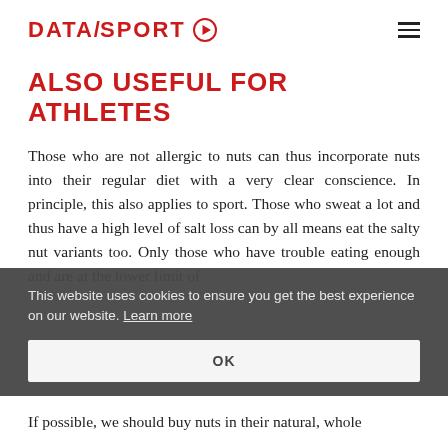DATASPORT
ALSO USEFUL FOR ATHLETES
Those who are not allergic to nuts can thus incorporate nuts into their regular diet with a very clear conscience. In principle, this also applies to sport. Those who sweat a lot and thus have a high level of salt loss can by all means eat the salty nut variants too. Only those who have trouble eating enough and are at the lower limit of [...]nsume [...]eating
This website uses cookies to ensure you get the best experience on our website. Learn more
OK
If possible, we should buy nuts in their natural, whole